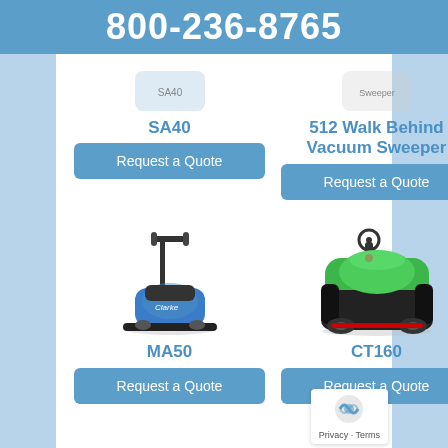800-236-8765
SA40
Request a Quote
512 Walk Behind Vacuum Sweeper
Request a Quote
[Figure (photo): Blue Clarke MA50 walk-behind floor scrubber machine]
MA50
Request a Quote
[Figure (photo): Green and black CT160 ride-on floor cleaning machine]
CT160
Request a Quote